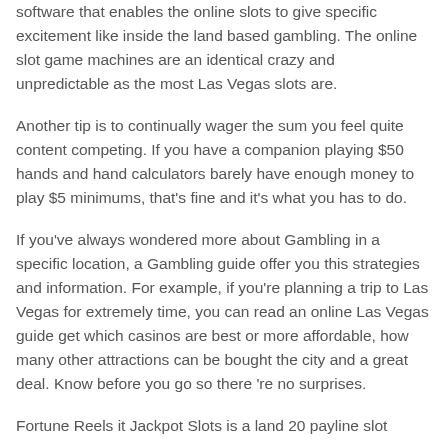software that enables the online slots to give specific excitement like inside the land based gambling. The online slot game machines are an identical crazy and unpredictable as the most Las Vegas slots are.
Another tip is to continually wager the sum you feel quite content competing. If you have a companion playing $50 hands and hand calculators barely have enough money to play $5 minimums, that's fine and it's what you has to do.
If you've always wondered more about Gambling in a specific location, a Gambling guide offer you this strategies and information. For example, if you're planning a trip to Las Vegas for extremely time, you can read an online Las Vegas guide get which casinos are best or more affordable, how many other attractions can be bought the city and a great deal. Know before you go so there 're no surprises.
Fortune Reels it Jackpot Slots is a land 20 payline slot...